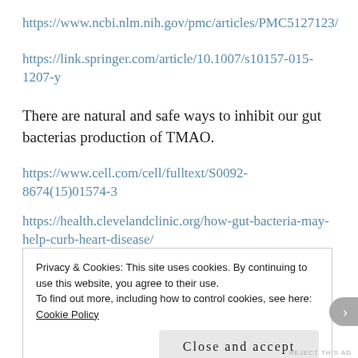https://www.ncbi.nlm.nih.gov/pmc/articles/PMC5127123/
https://link.springer.com/article/10.1007/s10157-015-1207-y
There are natural and safe ways to inhibit our gut bacterias production of TMAO.
https://www.cell.com/cell/fulltext/S0092-8674(15)01574-3
https://health.clevelandclinic.org/how-gut-bacteria-may-help-curb-heart-disease/
Privacy & Cookies: This site uses cookies. By continuing to use this website, you agree to their use.
To find out more, including how to control cookies, see here: Cookie Policy
Close and accept